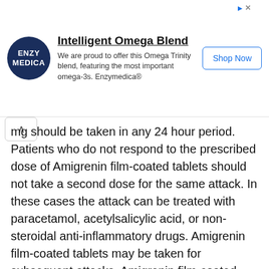[Figure (infographic): Advertisement banner for Enzymedica Intelligent Omega Blend product. Contains Enzymedica logo (dark navy circle), product title 'Intelligent Omega Blend', description text, and 'Shop Now' button.]
mg should be taken in any 24 hour period. Patients who do not respond to the prescribed dose of Amigrenin film-coated tablets should not take a second dose for the same attack. In these cases the attack can be treated with paracetamol, acetylsalicylic acid, or non-steroidal anti-inflammatory drugs. Amigrenin film-coated tablets may be taken for subsequent attacks. Amigrenin film-coated tablets is recommended as monotherapy for the acute treatment of migraine and should not be given concomitantly with ergotamine or derivatives of ergotamine (including methysergide).